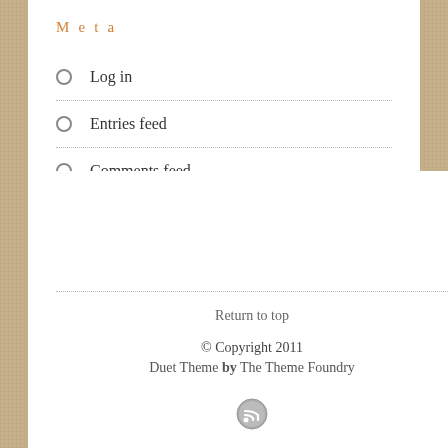Meta
Log in
Entries feed
Comments feed
WordPress.org
Return to top
© Copyright 2011
Duet Theme by The Theme Foundry
[Figure (logo): RSS feed icon circle]